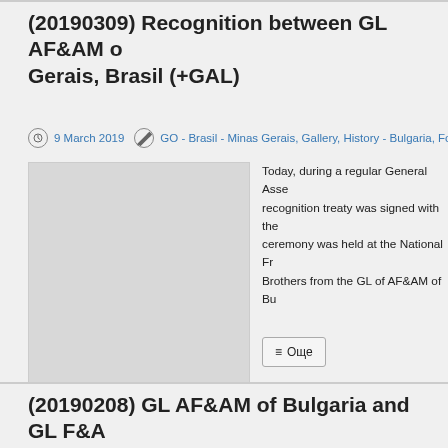(20190309) Recognition between GL AF&AM of Minas Gerais, Brasil (+GAL)
9 March 2019   GO - Brasil - Minas Gerais, Gallery, History - Bulgaria, Foreign Affairs,
[Figure (photo): Gray placeholder image for the article]
Today, during a regular General Asse... recognition treaty was signed with the... ceremony was held at the National Fr... Brothers from the GL of AF&AM of Bu...
Още
(20190208) GL AF&AM of Bulgaria and GL F&A... representatives